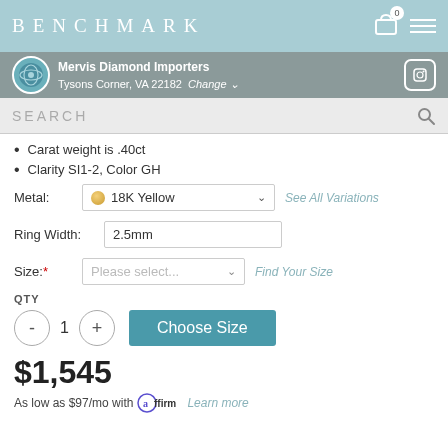BENCHMARK
Mervis Diamond Importers
Tysons Corner, VA 22182  Change
SEARCH
Carat weight is .40ct
Clarity SI1-2, Color GH
Metal: 18K Yellow  See All Variations
Ring Width: 2.5mm
Size: * Please select...  Find Your Size
QTY  1  Choose Size
$1,545
As low as $97/mo with affirm  Learn more